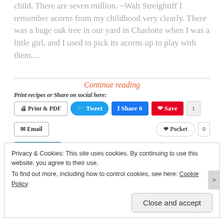child. There are seven million. ~Walt Streightiff I remember acorns from my childhood very clearly. There was a huge oak tree in our yard in Charlotte when I was a little girl, and I used to pick its acorns up to play with them....
Continue reading
Print recipes or Share on social here:
Print & PDF | Tweet | Share 0 | Save | 1
Email | Pocket | 0
SHARE | Print | Post
Like this:
Privacy & Cookies: This site uses cookies. By continuing to use this website, you agree to their use. To find out more, including how to control cookies, see here: Cookie Policy
Close and accept